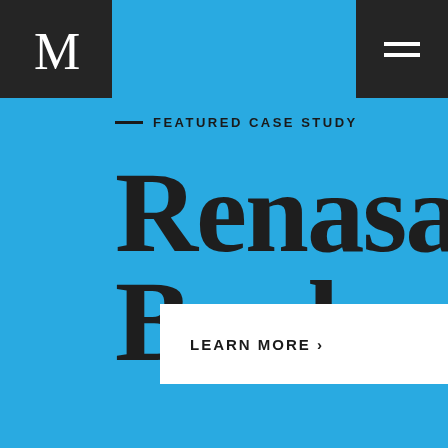[Figure (logo): Dark square box with stylized M logo in white, top-left corner]
[Figure (other): Dark square box with white hamburger menu icon (three horizontal lines), top-right corner]
— FEATURED CASE STUDY
Renasant Bank
LEARN MORE ›